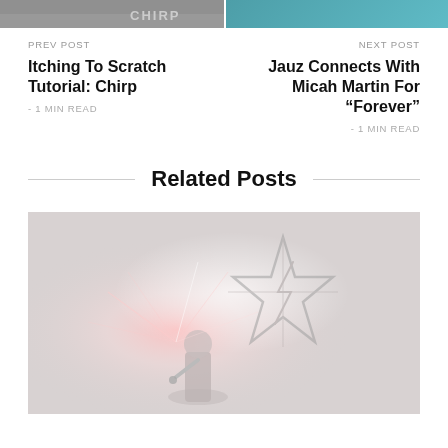[Figure (photo): Two cropped thumbnail images side by side — left shows a person and partial text 'CHIRP', right shows a teal/blue colored image.]
PREV POST
NEXT POST
Itching To Scratch Tutorial: Chirp
Jauz Connects With Micah Martin For “Forever”
- 1 MIN READ
- 1 MIN READ
Related Posts
[Figure (photo): A performer on stage with bright pink/white stage lighting effects and a stylized starburst/lightning bolt graphic in the background on a large screen. Image has a washed-out, light, faded quality.]